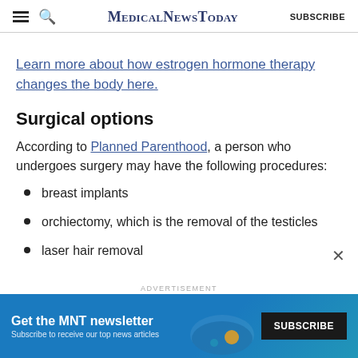MedicalNewsToday | SUBSCRIBE
Learn more about how estrogen hormone therapy changes the body here.
Surgical options
According to Planned Parenthood, a person who undergoes surgery may have the following procedures:
breast implants
orchiectomy, which is the removal of the testicles
laser hair removal
[Figure (infographic): Advertisement banner: Get the MNT newsletter. Subscribe to receive our top news articles. SUBSCRIBE button.]